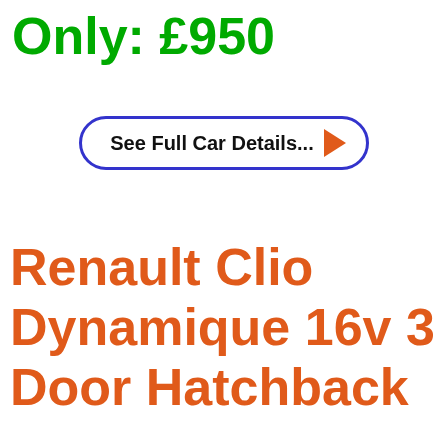Only: £950
[Figure (other): A button/link element with blue rounded border containing text 'See Full Car Details...' and an orange arrow pointing right]
Renault Clio Dynamique 16v 3 Door Hatchback